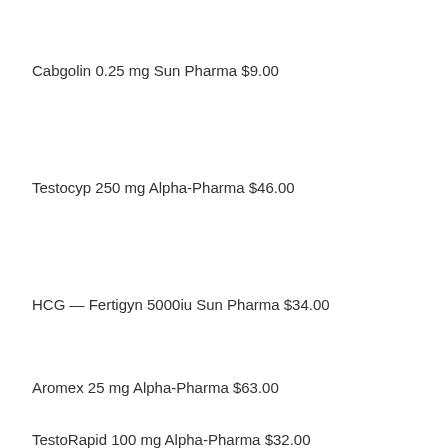Cabgolin 0.25 mg Sun Pharma $9.00
Testocyp 250 mg Alpha-Pharma $46.00
HCG — Fertigyn 5000iu Sun Pharma $34.00
Aromex 25 mg Alpha-Pharma $63.00
TestoRapid 100 mg Alpha-Pharma $32.00